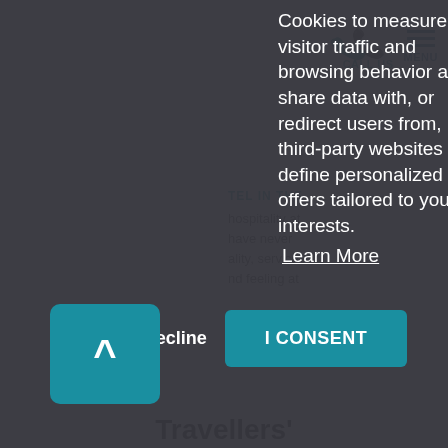Cookies to measure visitor traffic and browsing behavior and share data with, or redirect users from, third-party websites to define personalized offers tailored to your interests.
Learn More
CALL US
MENU
TEL IN THE
hospitality at have never ality, service nd feeling at
Decline
I CONSENT
Travellers'